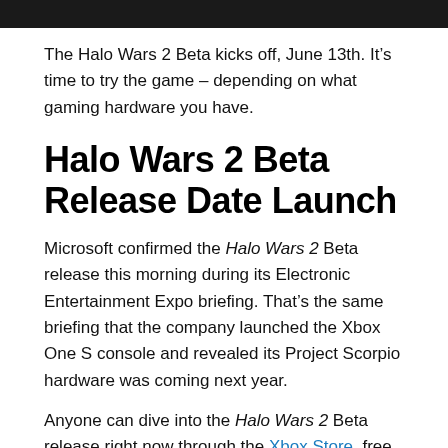[Figure (photo): Dark header image/banner bar at top of page]
The Halo Wars 2 Beta kicks off, June 13th. It’s time to try the game – depending on what gaming hardware you have.
Halo Wars 2 Beta Release Date Launch
Microsoft confirmed the Halo Wars 2 Beta release this morning during its Electronic Entertainment Expo briefing. That’s the same briefing that the company launched the Xbox One S console and revealed its Project Scorpio hardware was coming next year.
Anyone can dive into the Halo Wars 2 Beta release right now through the Xbox Store, free of charge, provided that they have Microsoft’s Xbox One console and an Xbox Live Gold subscription.